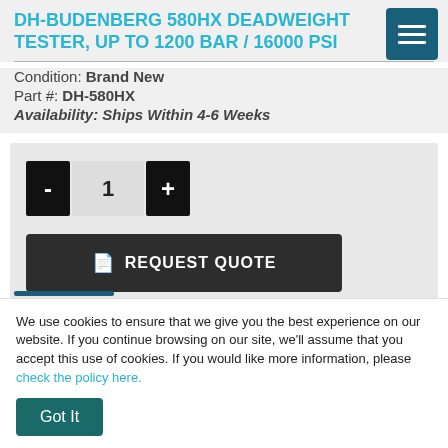DH-BUDENBERG 580HX DEADWEIGHT TESTER, UP TO 1200 BAR / 16000 PSI
Condition: Brand New
Part #: DH-580HX
Availability: Ships Within 4-6 Weeks
[Figure (screenshot): Quantity selector with minus and plus buttons and value of 1, plus a REQUEST QUOTE dark button with document icon]
We use cookies to ensure that we give you the best experience on our website. If you continue browsing on our site, we'll assume that you accept this use of cookies. If you would like more information, please check the policy here.
Got It